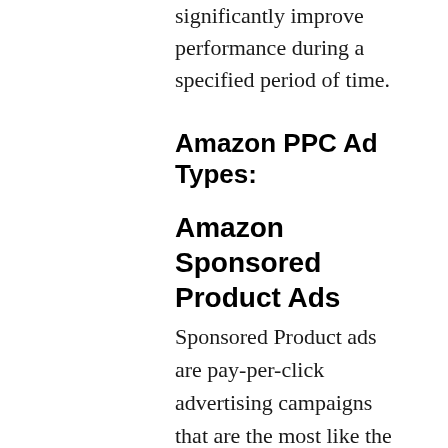significantly improve performance during a specified period of time.
Amazon PPC Ad Types:
Amazon Sponsored Product Ads
Sponsored Product ads are pay-per-click advertising campaigns that are the most like the general PPC ads you would run in Google or Bing. This type of ad uses keyword and product targeting to